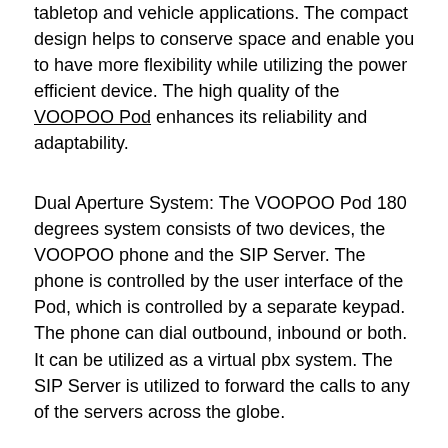tabletop and vehicle applications. The compact design helps to conserve space and enable you to have more flexibility while utilizing the power efficient device. The high quality of the VOOPOO Pod enhances its reliability and adaptability.
Dual Aperture System: The VOOPOO Pod 180 degrees system consists of two devices, the VOOPOO phone and the SIP Server. The phone is controlled by the user interface of the Pod, which is controlled by a separate keypad. The phone can dial outbound, inbound or both. It can be utilized as a virtual pbx system. The SIP Server is utilized to forward the calls to any of the servers across the globe.